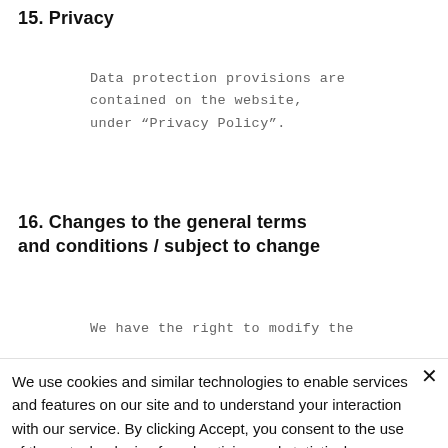15. Privacy
Data protection provisions are contained on the website, under “Privacy Policy”.
16. Changes to the general terms and conditions / subject to change
We have the right to modify the
We use cookies and similar technologies to enable services and features on our site and to understand your interaction with our service. By clicking Accept, you consent to the use of these technologies for advertising and statistical purposes. See privacy policy
Reject Everything
Accept
Cookie settings